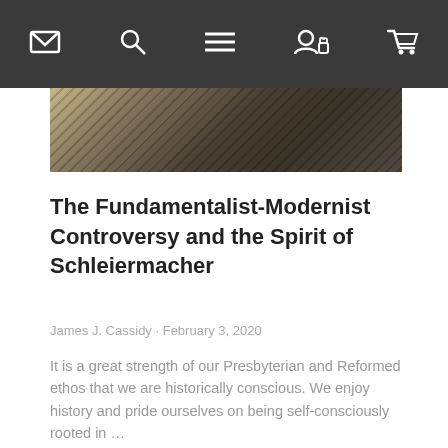Navigation bar with icons: mail, search, menu, account/lock, cart
[Figure (photo): Dark textured fabric/surface close-up image strip]
The Fundamentalist-Modernist Controversy and the Spirit of Schleiermacher
James J. Cassidy · February 3, 2020
It is a great strength of our Presbyterian and Reformed ethos that we are historically conscious. We enjoy history and pride ourselves on being self-consciously rooted in …
[Figure (photo): Stack of books on a wooden table, warm tones]